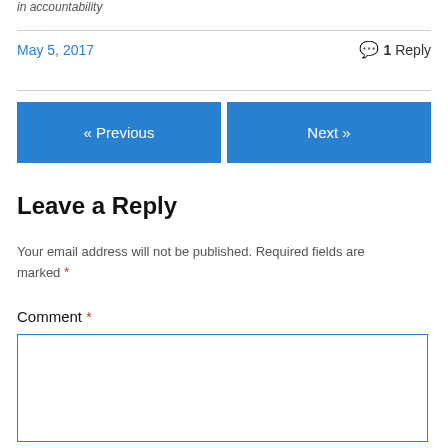in  accountability
May 5, 2017
1 Reply
« Previous
Next »
Leave a Reply
Your email address will not be published. Required fields are marked *
Comment *